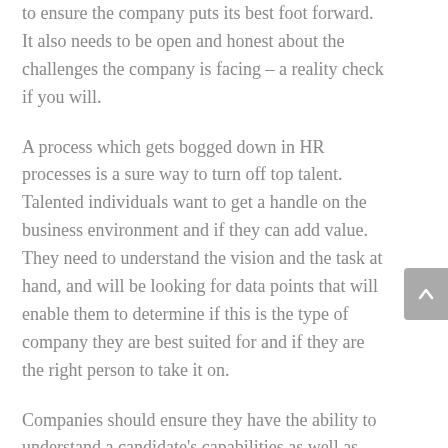to ensure the company puts its best foot forward. It also needs to be open and honest about the challenges the company is facing – a reality check if you will.
A process which gets bogged down in HR processes is a sure way to turn off top talent. Talented individuals want to get a handle on the business environment and if they can add value. They need to understand the vision and the task at hand, and will be looking for data points that will enable them to determine if this is the type of company they are best suited for and if they are the right person to take it on.
Companies should ensure they have the ability to understand a candidate's capabilities as well as their character – what makes them tick. Only in this way will you ensure you have people on